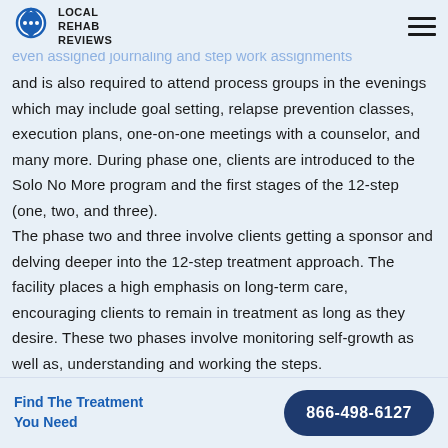LOCAL REHAB REVIEWS
and is also required to attend process groups in the evenings which may include goal setting, relapse prevention classes, execution plans, one-on-one meetings with a counselor, and many more. During phase one, clients are introduced to the Solo No More program and the first stages of the 12-step (one, two, and three). The phase two and three involve clients getting a sponsor and delving deeper into the 12-step treatment approach. The facility places a high emphasis on long-term care, encouraging clients to remain in treatment as long as they desire. These two phases involve monitoring self-growth as well as, understanding and working the steps.
Find The Treatment You Need | 866-498-6127